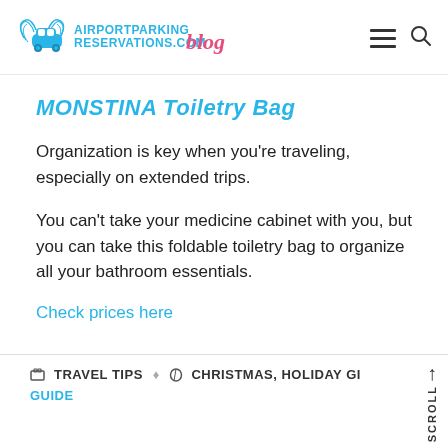AirportParkingReservations.com blog
MONSTINA Toiletry Bag
Organization is key when you're traveling, especially on extended trips.
You can't take your medicine cabinet with you, but you can take this foldable toiletry bag to organize all your bathroom essentials.
Check prices here
TRAVEL TIPS  CHRISTMAS, HOLIDAY GIFT GUIDE